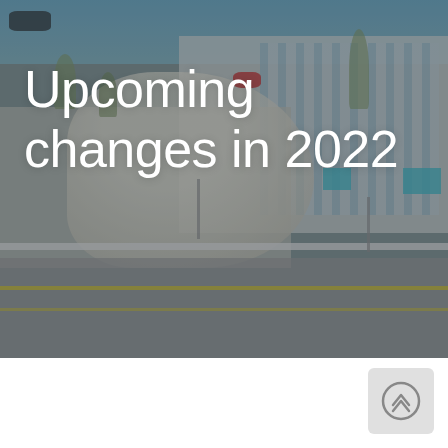[Figure (photo): Aerial view of an industrial warehouse or distribution center building with a large parking/driveway area, palm trees, teal planters, a red car, and a road with yellow lines in the foreground. The image has a dark overlay.]
Upcoming changes in 2022